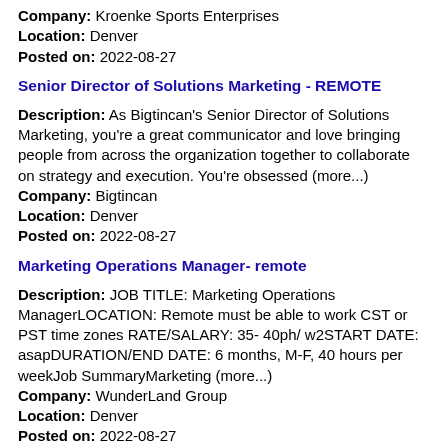Company: Kroenke Sports Enterprises
Location: Denver
Posted on: 2022-08-27
Senior Director of Solutions Marketing - REMOTE
Description: As Bigtincan's Senior Director of Solutions Marketing, you're a great communicator and love bringing people from across the organization together to collaborate on strategy and execution. You're obsessed (more...)
Company: Bigtincan
Location: Denver
Posted on: 2022-08-27
Marketing Operations Manager- remote
Description: JOB TITLE: Marketing Operations ManagerLOCATION: Remote must be able to work CST or PST time zones RATE/SALARY: 35- 40ph/ w2START DATE: asapDURATION/END DATE: 6 months, M-F, 40 hours per weekJob SummaryMarketing (more...)
Company: WunderLand Group
Location: Denver
Posted on: 2022-08-27
Public Sector Marketing Specialist - contractor
Description: About UsAt Cloudflare, we have our eyes set on an ambitious goal: to help build a better Internet. Today the company runs one of the world's largest networks that powers